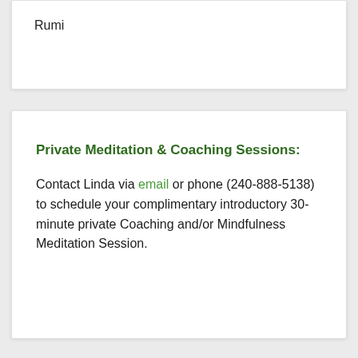Rumi
Private Meditation & Coaching Sessions:
Contact Linda via email or phone (240-888-5138) to schedule your complimentary introductory 30-minute private Coaching and/or Mindfulness Meditation Session.